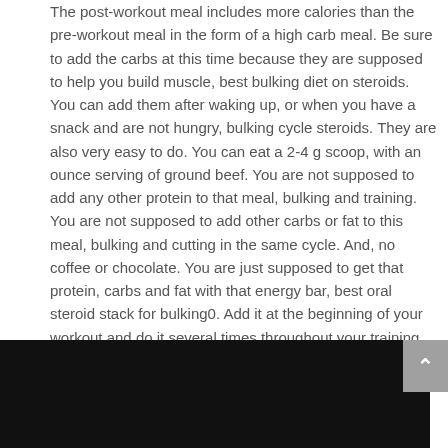The post-workout meal includes more calories than the pre-workout meal in the form of a high carb meal. Be sure to add the carbs at this time because they are supposed to help you build muscle, best bulking diet on steroids. You can add them after waking up, or when you have a snack and are not hungry, bulking cycle steroids. They are also very easy to do. You can eat a 2-4 g scoop, with an ounce serving of ground beef. You are not supposed to add any other protein to that meal, bulking and training. You are not supposed to add other carbs or fat to this meal, bulking and cutting in the same cycle. And, no coffee or chocolate. You are just supposed to get that protein, carbs and fat with that energy bar, best oral steroid stack for bulking0. Add it at the beginning of your workout and do it several times throughout your training program.
[Figure (photo): Dark/black image at the bottom of the page, appears to be a photo]